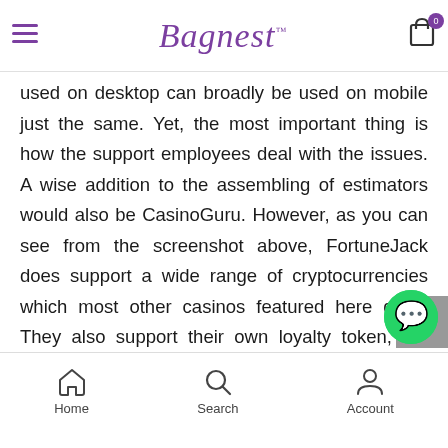Bagnest
used on desktop can broadly be used on mobile just the same. Yet, the most important thing is how the support employees deal with the issues. A wise addition to the assembling of estimators would also be CasinoGuru. However, as you can see from the screenshot above, FortuneJack does support a wide range of cryptocurrencies which most other casinos featured here don't. They also support their own loyalty token, the FJC token, which players earn as they use the casino. We rankedhighly as it has many positive reviews and a high rating of. On TrustPilot derived from a total of reviews.
Home  Search  Account